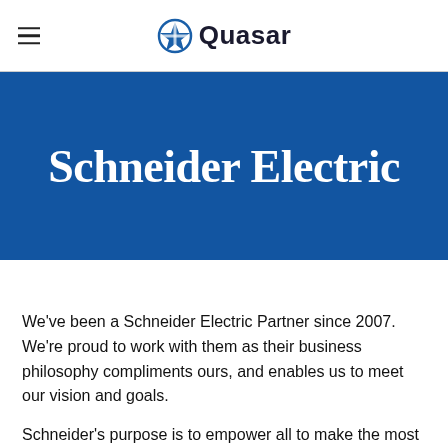Quasar
Schneider Electric
We've been a Schneider Electric Partner since 2007. We're proud to work with them as their business philosophy compliments ours, and enables us to meet our vision and goals.
Schneider's purpose is to empower all to make the most of our